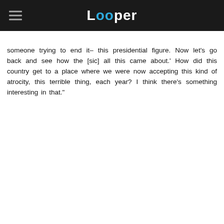Looper
someone trying to end it– this presidential figure. Now let's go back and see how the [sic] all this came about.' How did this country get to a place where we were now accepting this kind of atrocity, this terrible thing, each year? I think there's something interesting in that."